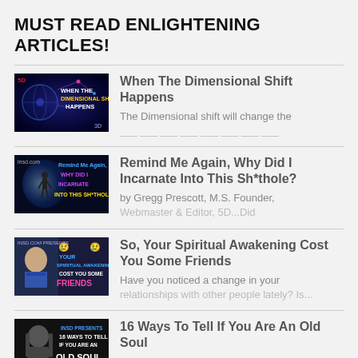MUST READ ENLIGHTENING ARTICLES!
[Figure (illustration): Thumbnail for 'When The Dimensional Shift Happens' article — dark blue/purple background with globe and neural network imagery, text overlay reading WHEN THE DIMENSIONAL SHIFT HAPPENS]
When The Dimensional Shift Happens
The Dimensional shift will change the...
[Figure (illustration): Thumbnail for 'Remind Me Again, Why Did I Incarnate Into This Sh*thole?' — dark background with silhouette walking toward light, colorful text overlay]
Remind Me Again, Why Did I Incarnate Into This Sh*thole?
by Gregg Prescott, M.S. Founder, Webmaster & Editor, 5D...Did
[Figure (illustration): Thumbnail for 'So, Your Spiritual Awakening Cost You Some Friends' — man with long hair, emoji faces, text overlay in blue and pink]
So, Your Spiritual Awakening Cost You Some Friends
Have you noticed a change in your relationships with other people lately? Is...
[Figure (illustration): Thumbnail for '16 Ways To Tell If You Are An Old Soul' — elderly man with long hair, dark background, white text overlay]
16 Ways To Tell If You Are An Old Soul
How can you tell if you are an old